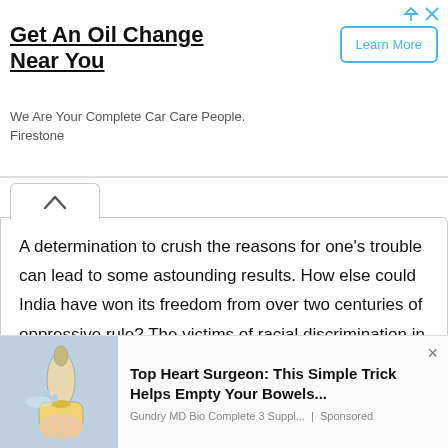[Figure (other): Advertisement banner: 'Get An Oil Change Near You' - Firestone ad with Learn More button]
A determination to crush the reasons for one’s trouble can lead to some astounding results. How else could India have won its freedom from over two centuries of oppressive rule? The victims of racial discrimination in South Africa fought and got back their freedom and dignity.
We use cookies on our website to give you the most relevant experience by remembering your preferences and repeat visits. By clicking “Accept”, you consent to the use of ALL the cookies. Do not sell my personal information.
[Figure (other): Bottom advertisement: 'Top Heart Surgeon: This Simple Trick Helps Empty Your Bowels...' - Gundry MD Bio Complete 3 Suppl... | Sponsored, with illustration of hand holding a bottle]